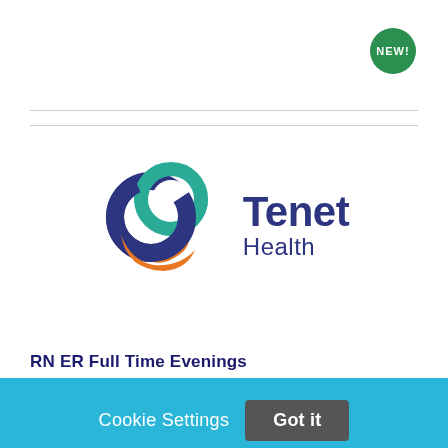[Figure (logo): NEW! badge - green circular badge with white bold text]
[Figure (logo): Tenet Health logo with interlocking circles in blue, teal, and orange, with 'Tenet Health' text in dark blue]
RN ER Full Time Evenings
Cookie Settings  Got it
We use cookies so that we can remember you and understand how you use our site. If you do not agree with our use of cookies, please change the current settings found in our Cookie Policy. Otherwise, you agree to the use of the cookies as they are currently set.